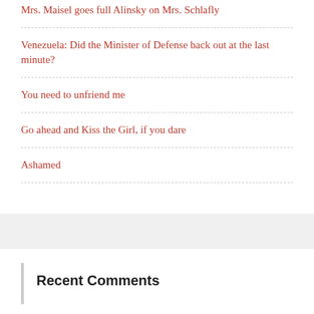Mrs. Maisel goes full Alinsky on Mrs. Schlafly
Venezuela: Did the Minister of Defense back out at the last minute?
You need to unfriend me
Go ahead and Kiss the Girl, if you dare
Ashamed
Recent Comments
John on Mrs. Maisel goes full Alinsky on Mrs.